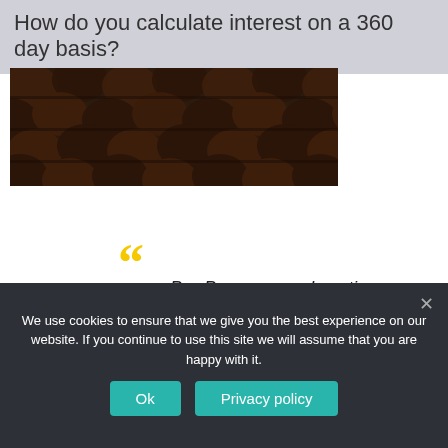How do you calculate interest on a 360 day basis?
[Figure (photo): Close-up photograph of dark brown clay/terracotta roof tiles in a diagonal pattern]
Pro-Papers saved my time, grades, and nerve cells!
We use cookies to ensure that we give you the best experience on our website. If you continue to use this site we will assume that you are happy with it.